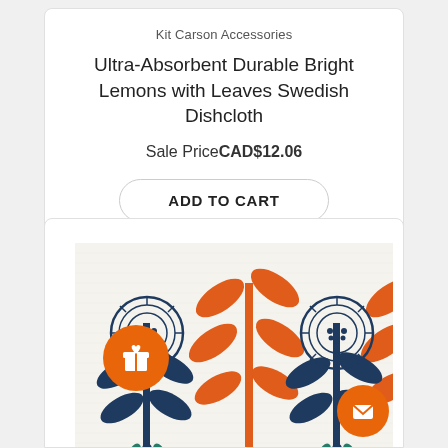Kit Carson Accessories
Ultra-Absorbent Durable Bright Lemons with Leaves Swedish Dishcloth
Sale Price CAD$12.06
ADD TO CART
[Figure (photo): A Swedish dishcloth with a Scandinavian folk art pattern featuring orange leaves on navy blue flower stems, with teal floral bases at the bottom, on a white textured cloth background.]